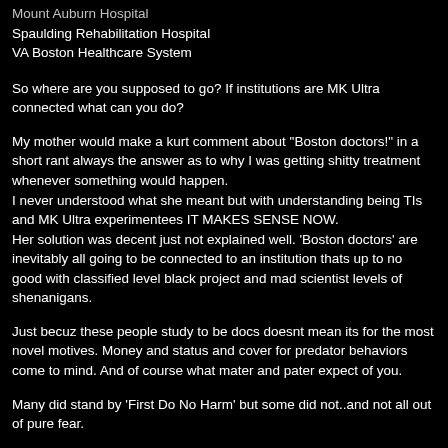Mount Auburn Hospital
Spaulding Rehabilitation Hospital
VA Boston Healthcare System
So where are you supposed to go? If institutions are MK Ultra connected what can you do?
My mother would make a kurt comment about "Boston doctors!" in a short rant always the answer as to why I was getting shitty treatment whenever something would happen.
I never understood what she meant but with understanding being TIs and MK Ultra experimentees IT MAKES SENSE NOW.
Her solution was decent just not explained well. 'Boston doctors' are inevitably all going to be connected to an institution thats up to no good with classified level black project and mad scientist levels of shenanigans.
Just becuz these people study to be docs doesnt mean its for the most novel motives. Money and status and cover for predator behaviors come to mind. And of course what mater and pater expect of you.
Many did stand by 'First Do No Harm' but some did not..and not all out of pure fear.